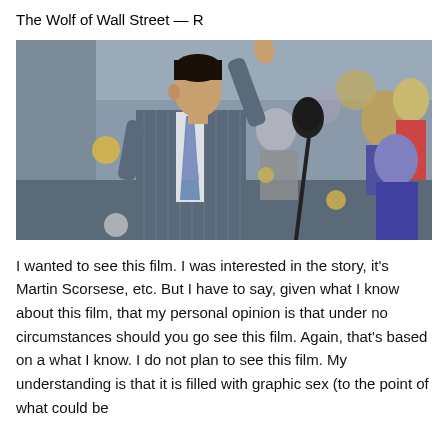The Wolf of Wall Street — R
[Figure (photo): Scene from The Wolf of Wall Street film showing a man in a pinstripe suit with his arm raised in a crowded room with a microphone stand visible]
I wanted to see this film. I was interested in the story, it's Martin Scorsese, etc. But I have to say, given what I know about this film, that my personal opinion is that under no circumstances should you go see this film. Again, that's based on a what I know. I do not plan to see this film. My understanding is that it is filled with graphic sex (to the point of what could be